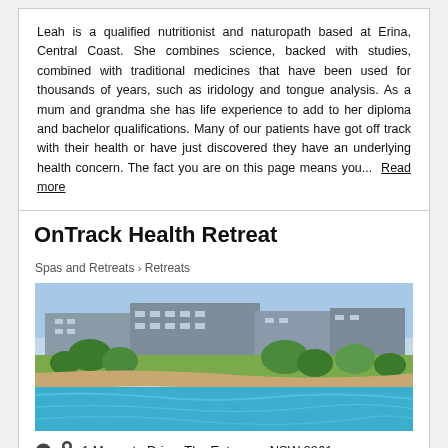Leah is a qualified nutritionist and naturopath based at Erina, Central Coast. She combines science, backed with studies, combined with traditional medicines that have been used for thousands of years, such as iridology and tongue analysis. As a mum and grandma she has life experience to add to her diploma and bachelor qualifications. Many of our patients have got off track with their health or have just discovered they have an underlying health concern. The fact you are on this page means you...  Read more
OnTrack Health Retreat
Spas and Retreats > Retreats
[Figure (photo): Aerial or elevated view of OnTrack Health Retreat building complex near a beach with turquoise water and trees in the foreground]
1 Magenta Drive, The Entrance, NSW 2261
20-30 km from Crangan Bay